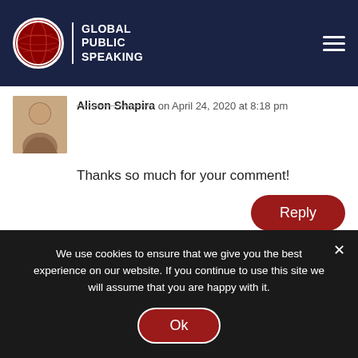[Figure (logo): Global Public Speaking logo with globe icon and text on dark navy navigation bar]
Alison Shapira on April 24, 2020 at 8:18 pm
[Figure (photo): Avatar photo of Alison Shapira]
Thanks so much for your comment!
Reply
Submit a Comment
Your email address will not be published. Required
We use cookies to ensure that we give you the best experience on our website. If you continue to use this site we will assume that you are happy with it.
Ok